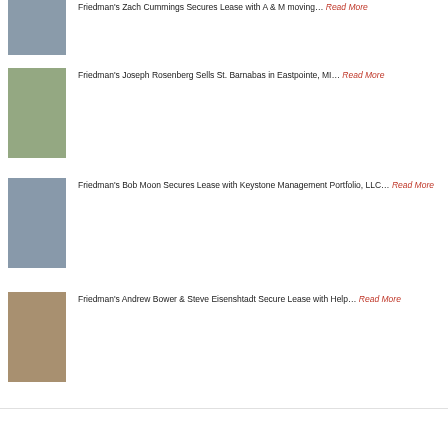Friedman's Zach Cummings Secures Lease with A & M moving… Read More
[Figure (photo): Exterior of a commercial building, parking lot visible]
[Figure (photo): Exterior of a commercial building with green lawn]
Friedman's Joseph Rosenberg Sells St. Barnabas in Eastpointe, MI… Read More
[Figure (photo): Exterior of a strip mall or retail building]
Friedman's Bob Moon Secures Lease with Keystone Management Portfolio, LLC… Read More
[Figure (photo): Exterior of a retail strip center with red awnings]
Friedman's Andrew Bower & Steve Eisenshtadt Secure Lease with Help… Read More